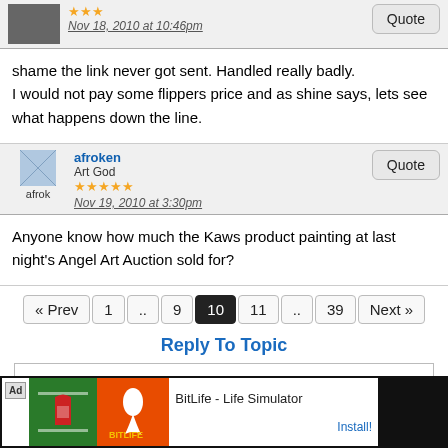Nov 18, 2010 at 10:46pm
shame the link never got sent. Handled really badly.
I would not pay some flippers price and as shine says, lets see what happens down the line.
afroken
Art God
Nov 19, 2010 at 3:30pm
Anyone know how much the Kaws product painting at last night's Angel Art Auction sold for?
« Prev  1  ..  9  10  11  ..  39  Next »
Reply To Topic
[Figure (screenshot): Ad banner: BitLife - Life Simulator with Install button]